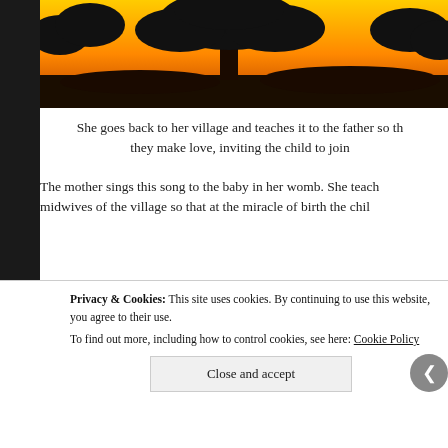[Figure (illustration): Sunset scene with silhouette of a tree against an orange and yellow sky, with dark ground at the bottom. Partially visible, cropped at the top of the page.]
She goes back to her village and teaches it to the father so th they make love, inviting the child to join
The mother sings this song to the baby in her womb. She teach midwives of the village so that at the miracle of birth the chil
[Figure (illustration): Colorful cartoon musical notes: a blue note on the left, a large yellow note in the center, and a pink/magenta note on the right, on a white background within a bordered box.]
Privacy & Cookies: This site uses cookies. By continuing to use this website, you agree to their use.
To find out more, including how to control cookies, see here: Cookie Policy
Close and accept
Love working again.